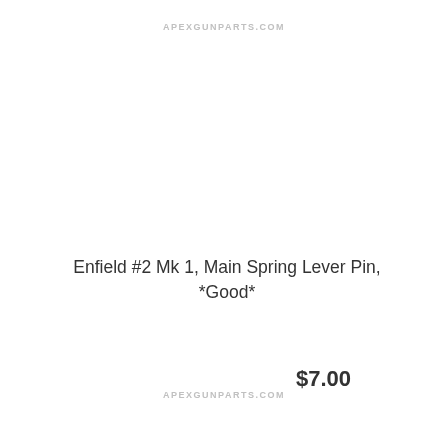APEXGUNPARTS.COM
Enfield #2 Mk 1, Main Spring Lever Pin, *Good*
$7.00
[Figure (illustration): UK Union Jack flag icon]
[Figure (photo): Small cylindrical metal pin, dark gray/black, shown at a diagonal angle]
APEXGUNPARTS.COM